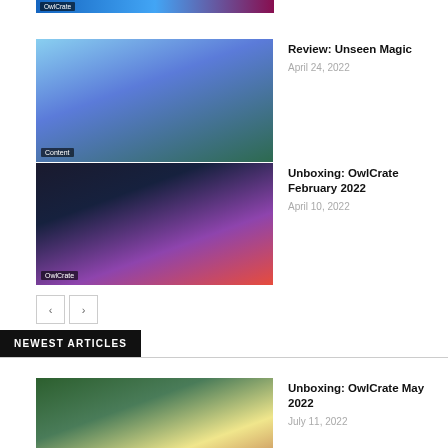[Figure (photo): Partially visible top thumbnail with OwlCrate label]
[Figure (photo): Book cover photo for Unseen Magic with colorful cover and crafts visible, labeled Content]
Review: Unseen Magic
April 24, 2022
[Figure (photo): OwlCrate February 2022 unboxing photo showing bookmarks and merchandise, labeled OwlCrate]
Unboxing: OwlCrate February 2022
April 10, 2022
< >
NEWEST ARTICLES
[Figure (photo): OwlCrate May 2022 unboxing photo showing chess board, cookies and book items]
Unboxing: OwlCrate May 2022
July 11, 2022